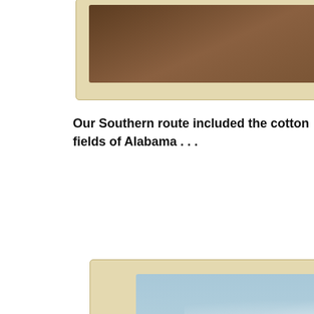[Figure (photo): Partial view of a vintage photo card with cream/beige border showing a reddish-brown landscape photograph at the top of the page]
Our Southern route included the cotton fields of Alabama . . .
[Figure (photo): Vintage photo card with cream/beige border showing a person (seen from behind, wearing white shirt and plaid skirt, with a white cap) looking at cotton fields in Alabama. Red dirt path visible in foreground. Blue sky with clouds above green cotton plants.]